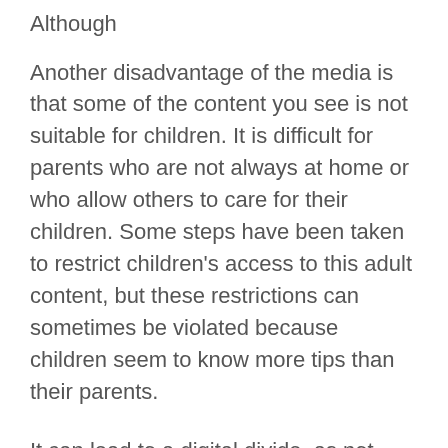Although
Another disadvantage of the media is that some of the content you see is not suitable for children. It is difficult for parents who are not always at home or who allow others to care for their children. Some steps have been taken to restrict children's access to this adult content, but these restrictions can sometimes be violated because children seem to know more tips than their parents.
It can lead to a digital divide, as not everyone can afford or have the technology to access new media. It